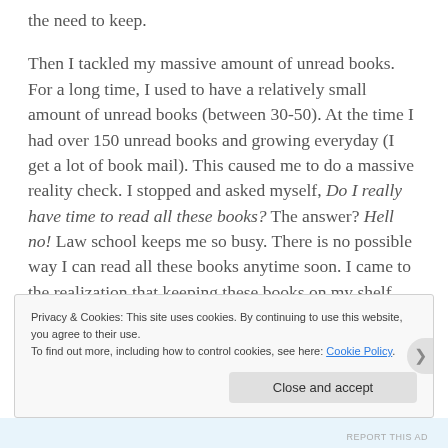the need to keep.
Then I tackled my massive amount of unread books. For a long time, I used to have a relatively small amount of unread books (between 30-50). At the time I had over 150 unread books and growing everyday (I get a lot of book mail). This caused me to do a massive reality check. I stopped and asked myself, Do I really have time to read all these books? The answer? Hell no! Law school keeps me so busy. There is no possible way I can read all these books anytime soon. I came to the realization that keeping these books on my shelf and never reading them was not doing them any good. So I unhauled a ton of them. I didn't count,
Privacy & Cookies: This site uses cookies. By continuing to use this website, you agree to their use.
To find out more, including how to control cookies, see here: Cookie Policy
Close and accept